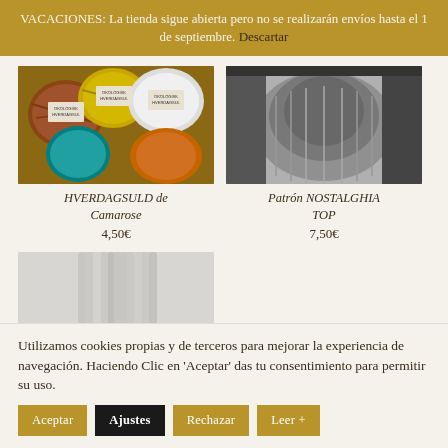VACACIONES: La tienda sigue abierta pero no se realizarán envíos hasta el 1 de septiembre. Descartar
[Figure (photo): Photo of colorful yarn skeins with labels HVERDAGSULD by Camarose in brown, yellow, teal, white, and orange colors arranged on a wooden surface]
HVERDAGSULD de Camarose
4,50€
[Figure (photo): Black and white photo showing a knitted garment detail, Patrón NOSTALGHIA TOP]
Patrón NOSTALGHIA TOP
7,50€
[Figure (photo): Photo of knitting needles, light gray, standing vertically]
Utilizamos cookies propias y de terceros para mejorar la experiencia de navegación. Haciendo Clic en 'Aceptar' das tu consentimiento para permitir su uso.